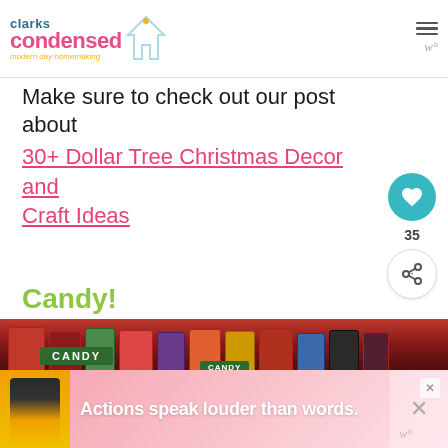clarks condensed — modern day homemaking
Make sure to check out our post about
30+ Dollar Tree Christmas Decor and Craft Ideas
Candy!
[Figure (photo): Photo of a Dollar Tree candy aisle with green CANDY shelf signs and various candy packages on shelves. A 'WHAT'S NEXT' overlay in bottom right shows 'The Best Dollar Tree...']
[Figure (photo): Advertisement banner with a person and text 'Actions speak louder than words.']